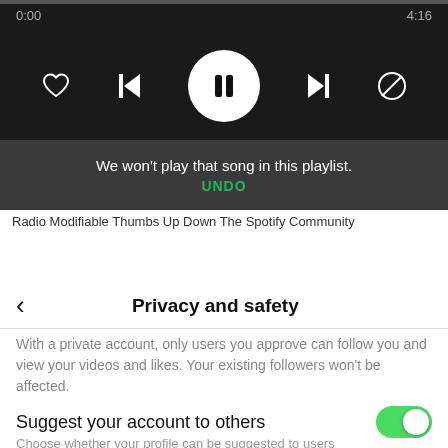[Figure (screenshot): Spotify mobile player showing playback controls with pause button, previous/next track, heart/block icons, time 0:00 and 4:16, and a toast notification saying 'We won't play that song in this playlist.' with UNDO link]
Radio Modifiable Thumbs Up Down The Spotify Community
[Figure (screenshot): Mobile status bar showing time 14:13, location arrow, signal bars, wifi icon, and battery icon]
Privacy and safety
With a private account, only users you approve can follow you and view your videos and likes. Your existing followers won't be affected.
Suggest your account to others
Choose whether your profile can be suggested to users